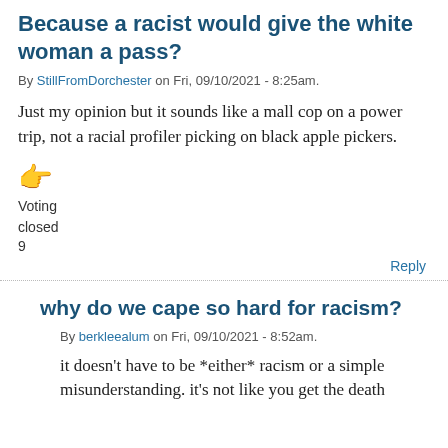Because a racist would give the white woman a pass?
By StillFromDorchester on Fri, 09/10/2021 - 8:25am.
Just my opinion but it sounds like a mall cop on a power trip, not a racial profiler picking on black apple pickers.
👉 Voting closed 9
Reply
why do we cape so hard for racism?
By berkleealum on Fri, 09/10/2021 - 8:52am.
it doesn't have to be *either* racism or a simple misunderstanding. it's not like you get the death